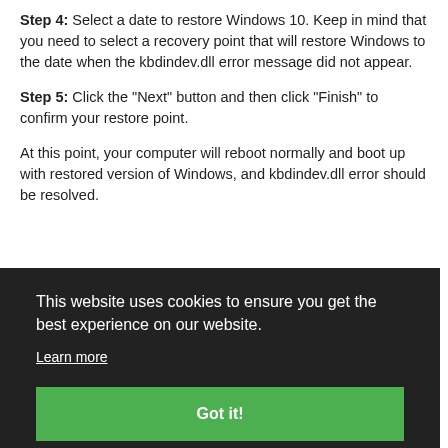Step 4: Select a date to restore Windows 10. Keep in mind that you need to select a recovery point that will restore Windows to the date when the kbdindev.dll error message did not appear.
Step 5: Click the "Next" button and then click "Finish" to confirm your restore point.
At this point, your computer will reboot normally and boot up with restored version of Windows, and kbdindev.dll error should be resolved.
This website uses cookies to ensure you get the best experience on our website.
Learn more
Got it!
d3dcompiler_43.dll - Direct3D HLSL Compiler